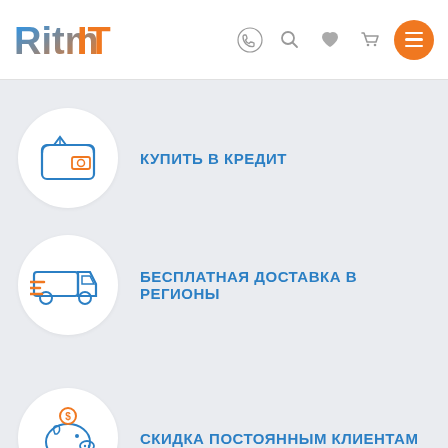[Figure (logo): RitmIT logo with blue and orange gradient text]
[Figure (infographic): Navigation icons: phone, search, heart, cart, hamburger menu on orange circle]
КУПИТЬ В КРЕДИТ
БЕСПЛАТНАЯ ДОСТАВКА В РЕГИОНЫ
СКИДКА ПОСТОЯННЫМ КЛИЕНТАМ